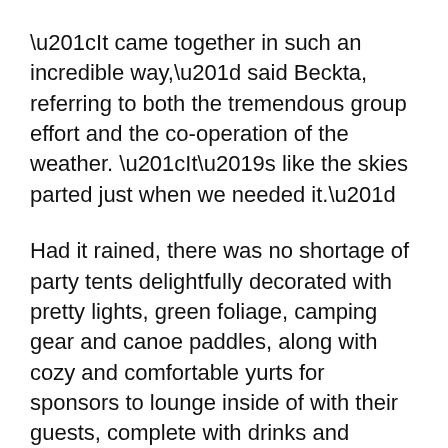“It came together in such an incredible way,” said Beckta, referring to both the tremendous group effort and the co-operation of the weather. “It’s like the skies parted just when we needed it.”
Had it rained, there was no shortage of party tents delightfully decorated with pretty lights, green foliage, camping gear and canoe paddles, along with cozy and comfortable yurts for sponsors to lounge inside of with their guests, complete with drinks and charcuterie.
The outdoor party was held on the expansive